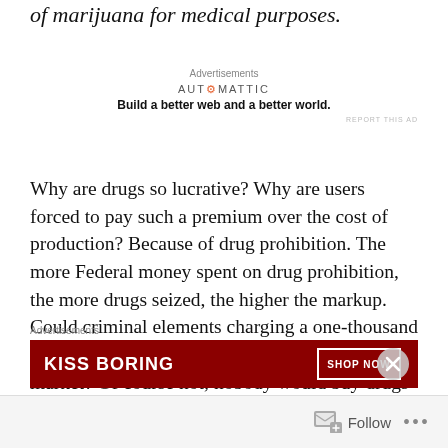of marijuana for medical purposes.
[Figure (other): Automattic advertisement: 'Build a better web and a better world.']
Why are drugs so lucrative? Why are users forced to pay such a premium over the cost of production? Because of drug prohibition. The more Federal money spent on drug prohibition, the more drugs seized, the higher the markup. Could criminal elements charging a one-thousand percent markup compete with a legal and free market? Of course not; nobody would buy drugs from a wild-eyed gun-wielding dealer when a pure product is available openly for
[Figure (other): Bottom advertisement banner: KISS BORING with SHOP NOW button]